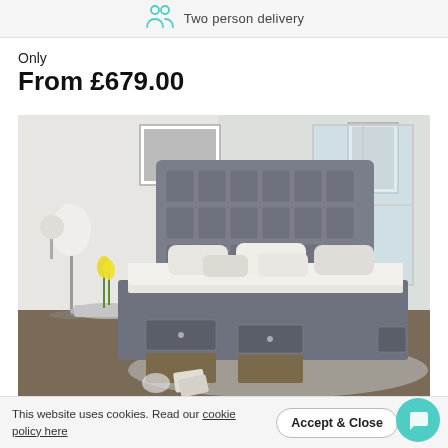Two person delivery
Only
From £679.00
[Figure (photo): A grey upholstered divan bed with a tall button-tufted headboard and four open storage drawers at the base, styled in a bright bedroom with white bedding, cushions, a bedside table with yellow tulips, and a grey rug.]
This website uses cookies. Read our cookie policy here
Accept & Close